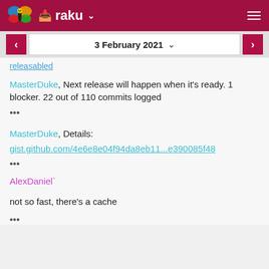raku
releasabled
MasterDuke, Next release will happen when it's ready. 1 blocker. 22 out of 110 commits logged
•••
MasterDuke, Details:
gist.github.com/4e6e8e04f94da8eb11...e390085f48
•••
AlexDaniel`
not so fast, there's a cache
•••